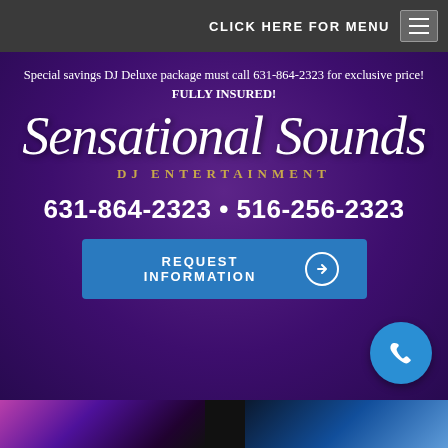CLICK HERE FOR MENU
Special savings DJ Deluxe package must call 631-864-2323 for exclusive price! FULLY INSURED!
Sensational Sounds
DJ ENTERTAINMENT
631-864-2323 • 516-256-2323
REQUEST INFORMATION
[Figure (photo): Bottom image strip showing DJ event photos with colorful lighting]
[Figure (other): Phone call floating action button (blue circle with phone icon)]